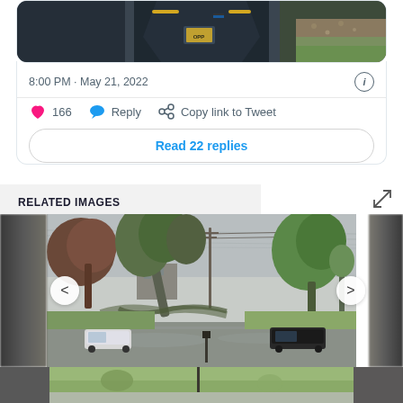[Figure (screenshot): Top portion of a tweet card showing a police officer photo cropped at top]
8:00 PM · May 21, 2022
♥ 166   Reply   Copy link to Tweet
Read 22 replies
RELATED IMAGES
[Figure (photo): Storm damage photo showing fallen trees and downed power lines on a street with vehicles, rainy day]